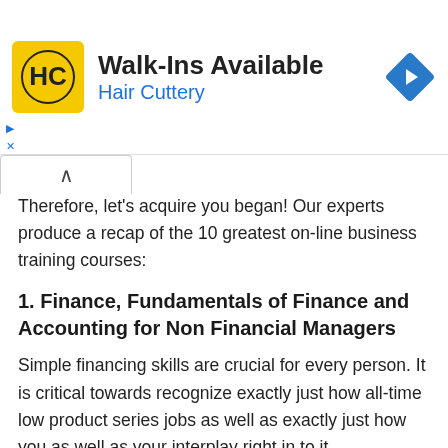[Figure (logo): Hair Cuttery advertisement banner with HC logo, 'Walk-Ins Available' heading, 'Hair Cuttery' subtitle in blue, and a blue navigation/arrow diamond icon on the right]
Therefore, let's acquire you began! Our experts produce a recap of the 10 greatest on-line business training courses:
1. Finance, Fundamentals of Finance and Accounting for Non Financial Managers
Simple financing skills are crucial for every person. It is critical towards recognize exactly just how all-time low product series jobs as well as exactly just how you as well as your interplay right in to it.